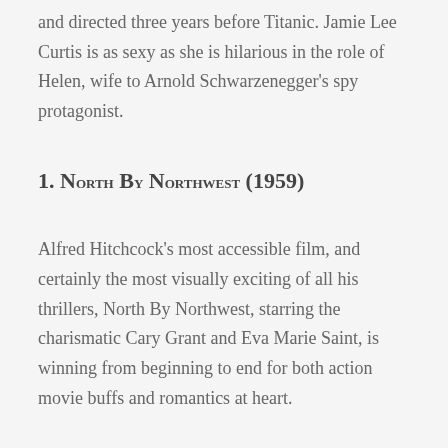and directed three years before Titanic. Jamie Lee Curtis is as sexy as she is hilarious in the role of Helen, wife to Arnold Schwarzenegger's spy protagonist.
1. North By Northwest (1959)
Alfred Hitchcock's most accessible film, and certainly the most visually exciting of all his thrillers, North By Northwest, starring the charismatic Cary Grant and Eva Marie Saint, is winning from beginning to end for both action movie buffs and romantics at heart.
Watching Like a Writer
Something Alfred Hitchcock loved to do was think